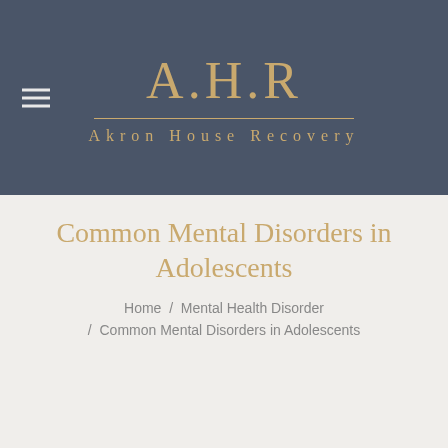[Figure (logo): A.H.R logo with decorative serif text and horizontal gold line, subtitle 'Akron House Recovery']
Common Mental Disorders in Adolescents
Home / Mental Health Disorder / Common Mental Disorders in Adolescents
Mental Health Disorder
Apr